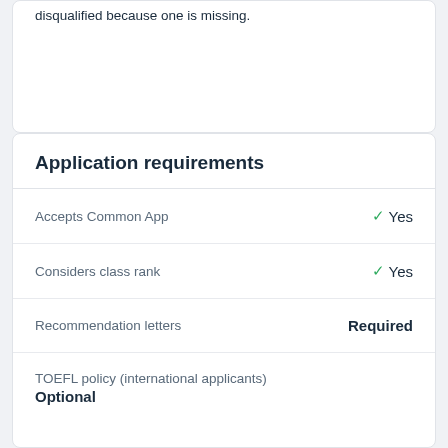disqualified because one is missing.
Application requirements
Accepts Common App
✓ Yes
Considers class rank
✓ Yes
Recommendation letters
Required
TOEFL policy (international applicants)
Optional